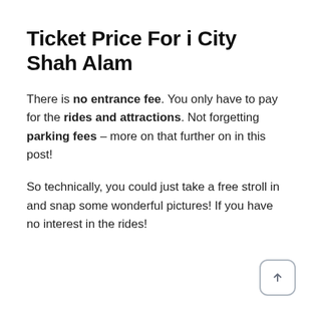Ticket Price For i City Shah Alam
There is no entrance fee. You only have to pay for the rides and attractions. Not forgetting parking fees – more on that further on in this post!
So technically, you could just take a free stroll in and snap some wonderful pictures! If you have no interest in the rides!